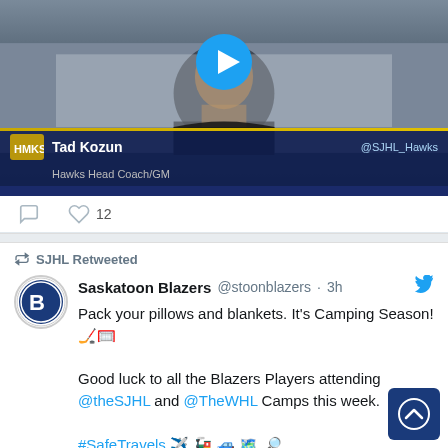[Figure (screenshot): Video thumbnail showing a man in a dark shirt with a play button overlay. Lower bar shows name 'Tad Kozun', title 'Hawks Head Coach/GM', and handle '@SJHL_Hawks' with Hawks logo.]
12
SJHL Retweeted
Saskatoon Blazers @stoonblazers · 3h
Pack your pillows and blankets. It's Camping Season! 🏒🥅

Good luck to all the Blazers Players attending @theSJHL and @TheWHL Camps this week.

#SafeTravels ✈️ 🚂 🚙 🗺 🔎

#BlazersHockey🔥🔥🔥